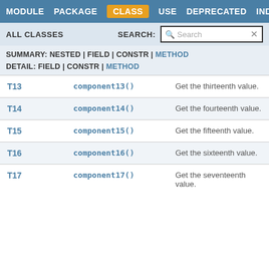MODULE   PACKAGE   CLASS   USE   DEPRECATED   INDEX   HELP
ALL CLASSES   SEARCH:
SUMMARY: NESTED | FIELD | CONSTR | METHOD
DETAIL: FIELD | CONSTR | METHOD
|  | Method | Description |
| --- | --- | --- |
| T13 | component13() | Get the thirteenth value. |
| T14 | component14() | Get the fourteenth value. |
| T15 | component15() | Get the fifteenth value. |
| T16 | component16() | Get the sixteenth value. |
| T17 | component17() | Get the seventeenth value. |